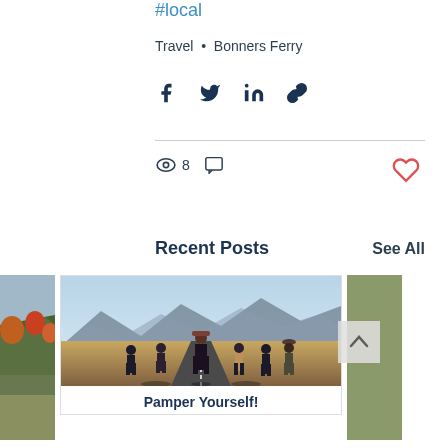#local
Travel  •  Bonners Ferry
[Figure (infographic): Social share icons: Facebook, Twitter, LinkedIn, Link]
[Figure (infographic): Stats: 8 views, comment icon, heart/like icon]
Recent Posts
See All
[Figure (photo): Partial left photo strip showing dry grass or wheat field]
[Figure (photo): Main photo showing six women posing on a road with mountains in background]
Pamper Yourself!
[Figure (photo): Partial right photo strip showing autumn trees on hillside]